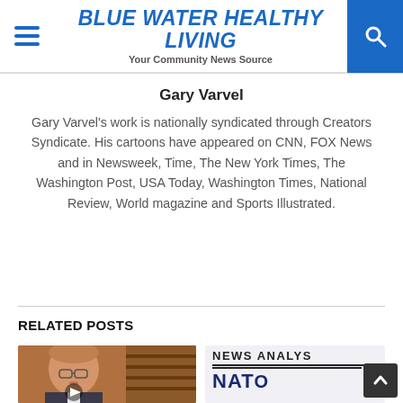BLUE WATER HEALTHY LIVING — Your Community News Source
Gary Varvel
Gary Varvel's work is nationally syndicated through Creators Syndicate. His cartoons have appeared on CNN, FOX News and in Newsweek, Time, The New York Times, The Washington Post, USA Today, Washington Times, National Review, World magazine and Sports Illustrated.
RELATED POSTS
[Figure (photo): Headshot of a man in glasses with bookshelves background, with a play button overlay]
[Figure (screenshot): NEWS ANALYSIS header with NATO SUPPORT text below in navy blue]